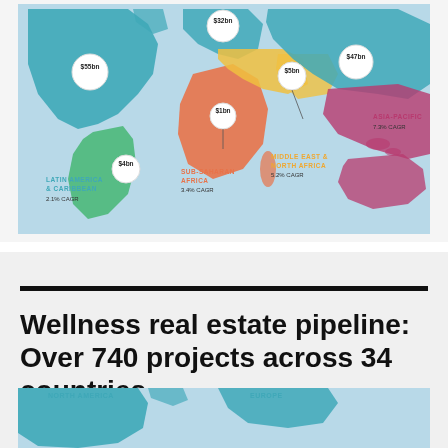[Figure (map): World map infographic showing wellness real estate market size by region with CAGR values. North America $55bn, Europe $32bn, Asia-Pacific $47bn 7.3% CAGR, Latin America & Caribbean $4bn 2.1% CAGR, Sub-Saharan Africa $1bn 3.4% CAGR, Middle East & North Africa $5bn 5.2% CAGR.]
Wellness real estate pipeline: Over 740 projects across 34 countries
[Figure (map): Partial world map showing North America and Europe labels at the bottom of the page.]